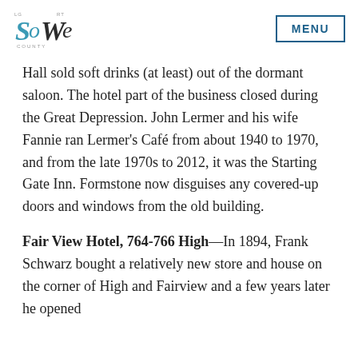SoWe [logo] | MENU
Hall sold soft drinks (at least) out of the dormant saloon. The hotel part of the business closed during the Great Depression. John Lermer and his wife Fannie ran Lermer's Café from about 1940 to 1970, and from the late 1970s to 2012, it was the Starting Gate Inn. Formstone now disguises any covered-up doors and windows from the old building.
Fair View Hotel, 764-766 High—In 1894, Frank Schwarz bought a relatively new store and house on the corner of High and Fairview and a few years later he opened